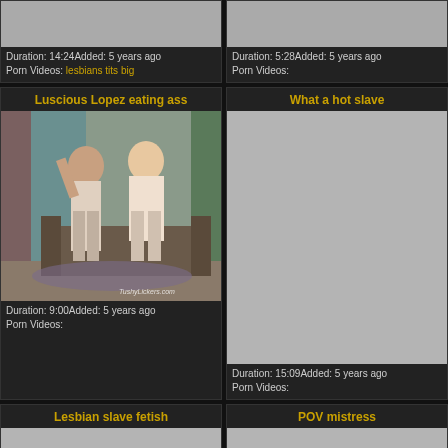Duration: 14:24Added: 5 years ago
Porn Videos: lesbians tits big
Duration: 5:28Added: 5 years ago
Porn Videos:
Luscious Lopez eating ass
[Figure (photo): Two women in lingerie in a living room scene, watermark TushyLickers.com]
Duration: 9:00Added: 5 years ago
Porn Videos:
What a hot slave
[Figure (photo): Gray placeholder thumbnail]
Duration: 15:09Added: 5 years ago
Porn Videos:
Lesbian slave fetish
POV mistress
[Figure (photo): Gray placeholder thumbnail]
[Figure (photo): Gray placeholder thumbnail]